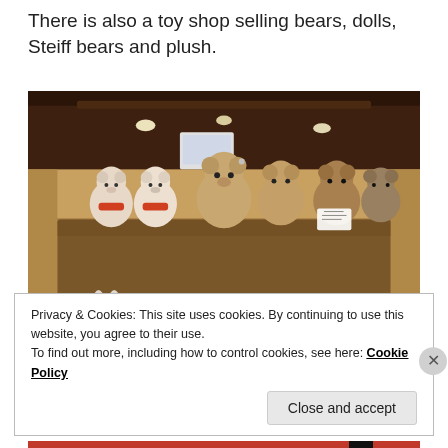There is also a toy shop selling bears, dolls, Steiff bears and plush.
[Figure (photo): Shelves in a toy shop displaying stuffed teddy bears and plush animals in wire mesh baskets, set in a wooden shelf unit. Upper shelf has Steiff-style bears with ribbons; lower shelf has white and brown plush animals.]
Privacy & Cookies: This site uses cookies. By continuing to use this website, you agree to their use.
To find out more, including how to control cookies, see here: Cookie Policy
Close and accept